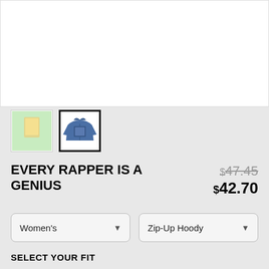[Figure (photo): Product image area showing a hoodie with graphic print on white background]
[Figure (photo): Thumbnail 1: front view of hoodie on green background]
[Figure (photo): Thumbnail 2 (selected): back view of blue zip-up hoody]
EVERY RAPPER IS A GENIUS
$47.45 (strikethrough) $42.70
Women's (dropdown) Zip-Up Hoody (dropdown)
SELECT YOUR FIT